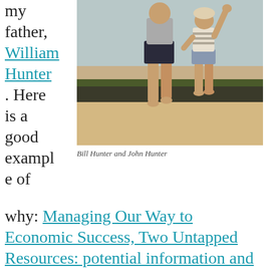my father, William Hunter. Here is a good example of why:
[Figure (photo): A photo of two people (an adult and a child) jumping or standing on a log or barrier at a beach, seen from behind.]
Bill Hunter and John Hunter
Managing Our Way to Economic Success, Two Untapped Resources: potential information and employee creativity. In another post I also wrote about my early influences related to